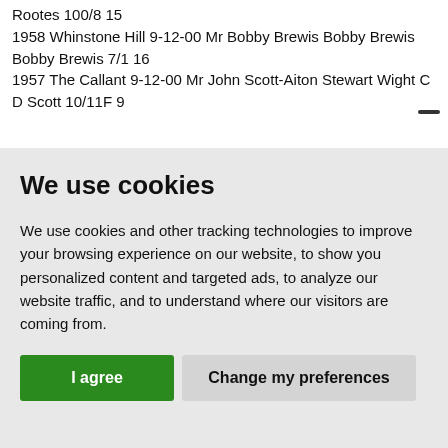Rootes 100/8 15
1958 Whinstone Hill 9-12-00 Mr Bobby Brewis Bobby Brewis Bobby Brewis 7/1 16
1957 The Callant 9-12-00 Mr John Scott-Aiton Stewart Wight C D Scott 10/11F 9
We use cookies
We use cookies and other tracking technologies to improve your browsing experience on our website, to show you personalized content and targeted ads, to analyze our website traffic, and to understand where our visitors are coming from.
I agree
Change my preferences